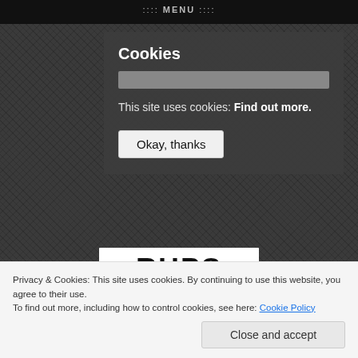:::: MENU ::::
Cookies
This site uses cookies: Find out more.
Okay, thanks
[Figure (logo): RHPS logo — white rectangle with bold black text 'RHPS']
The Royal High Primary School – Edinburgh, Scotland
Privacy & Cookies: This site uses cookies. By continuing to use this website, you agree to their use.
To find out more, including how to control cookies, see here: Cookie Policy
Close and accept